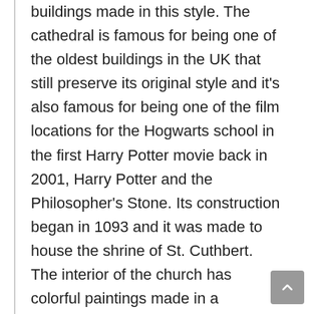buildings made in this style. The cathedral is famous for being one of the oldest buildings in the UK that still preserve its original style and it's also famous for being one of the film locations for the Hogwarts school in the first Harry Potter movie back in 2001, Harry Potter and the Philosopher's Stone. Its construction began in 1093 and it was made to house the shrine of St. Cuthbert. The interior of the church has colorful paintings made in a medieval style and also colorful arts made of stained glass. Some of its stained glass date back to the 14th century. The color from these art contrast with the color of the architectural elements of the building, creating a rich interior inside the church. The glass is also responsible for a contrast of light and dark inside of the building,